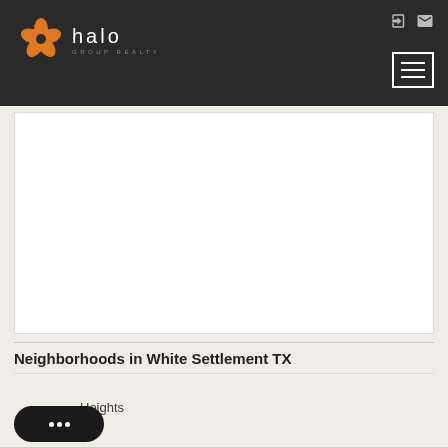Halo Group Realty
[Figure (screenshot): Halo Group Realty website header with logo, navigation icons, and hamburger menu on dark background]
[Figure (map): Embedded map area showing White Settlement TX area — content area is blank/white]
Neighborhoods in White Settlement TX
Heights